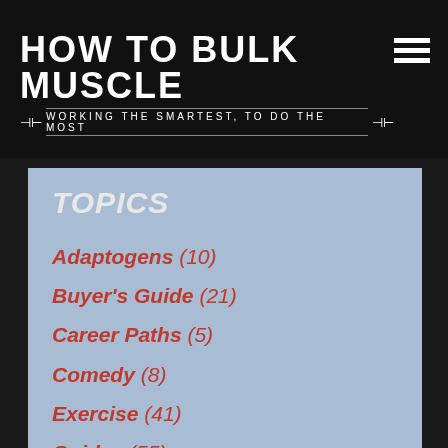HOW TO BULK MUSCLE — WORKING THE SMARTEST, TO DO THE MOST
TOPICS
Adaptogens (10)
Buyer's Guide (21)
Career Paths (5)
Comedy (8)
Exercise (41)
Guides (55)